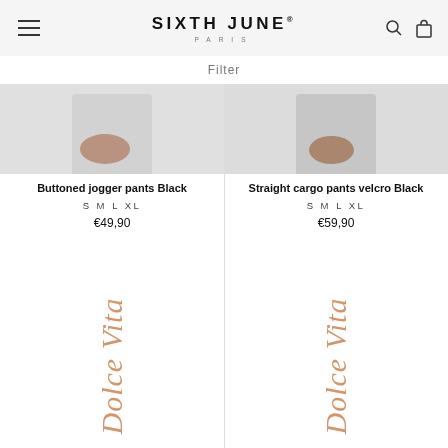SIXTH JUNE PARIS
Filter
[Figure (photo): Product image for Buttoned jogger pants Black, cropped showing bottom portion]
Buttoned jogger pants Black
S M L XL
€49,90
[Figure (photo): Product image for Straight cargo pants velcro Black, cropped showing bottom portion]
Straight cargo pants velcro Black
S M L XL
€59,90
[Figure (photo): Product image area with Dolce Vita script text watermark in rose gold, left column]
[Figure (photo): Product image area with Dolce Vita script text watermark in rose gold, right column]